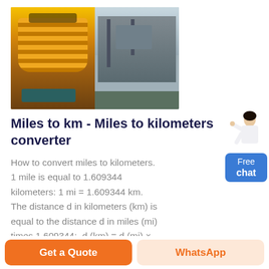[Figure (photo): Two photos side by side: left shows a yellow industrial cone crusher machine, right shows an industrial processing plant/facility with machinery and conveyors.]
Miles to km - Miles to kilometers converter
How to convert miles to kilometers. 1 mile is equal to 1.609344 kilometers: 1 mi = 1.609344 km. The distance d in kilometers (km) is equal to the distance d in miles (mi) times 1.609344:. d (km) = d (mi) × 1.609344. Example. Convert 20
[Figure (illustration): Free chat widget with a woman figure pointing and a blue button labeled Free chat]
Get a Quote
WhatsApp